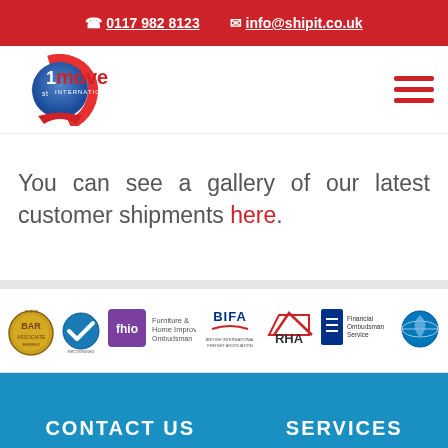0117 982 8123   info@shipit.co.uk
[Figure (logo): 1st Move International logo with globe and arrow graphic]
[Figure (illustration): Hamburger menu icon (three red horizontal lines)]
You can see a gallery of our latest customer shipments here.
[Figure (logo): Row of accreditation logos: BAR, checkmark logo, fhio Furniture & Home Improvement Ombudsman, BIFA British International Freight Association, RHA, Financial Ombudsman Service, IAM globe logo]
CONTACT US
SERVICES